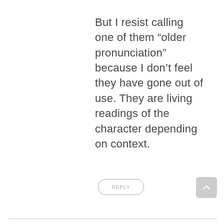But I resist calling one of them “older pronunciation” because I don’t feel they have gone out of use. They are living readings of the character depending on context.
REPLY